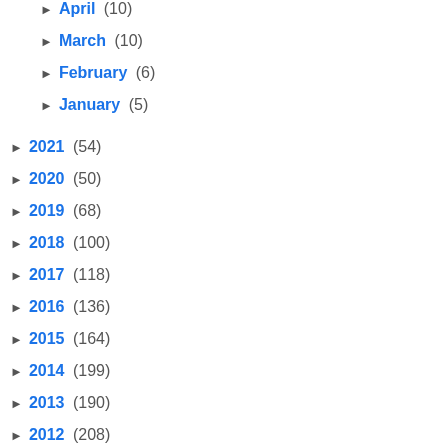► April (10)
► March (10)
► February (6)
► January (5)
► 2021 (54)
► 2020 (50)
► 2019 (68)
► 2018 (100)
► 2017 (118)
► 2016 (136)
► 2015 (164)
► 2014 (199)
► 2013 (190)
► 2012 (208)
► 2011 (180)
► 2010 (154)
► 2009 (105)